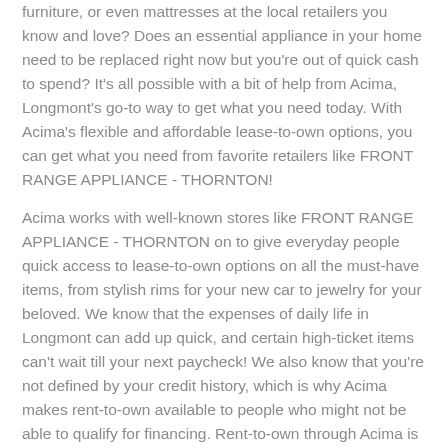furniture, or even mattresses at the local retailers you know and love? Does an essential appliance in your home need to be replaced right now but you're out of quick cash to spend? It's all possible with a bit of help from Acima, Longmont's go-to way to get what you need today. With Acima's flexible and affordable lease-to-own options, you can get what you need from favorite retailers like FRONT RANGE APPLIANCE - THORNTON!
Acima works with well-known stores like FRONT RANGE APPLIANCE - THORNTON on to give everyday people quick access to lease-to-own options on all the must-have items, from stylish rims for your new car to jewelry for your beloved. We know that the expenses of daily life in Longmont can add up quick, and certain high-ticket items can't wait till your next paycheck! We also know that you're not defined by your credit history, which is why Acima makes rent-to-own available to people who might not be able to qualify for financing. Rent-to-own through Acima is not the same as financing at FRONT RANGE APPLIANCE - THORNTON. It's